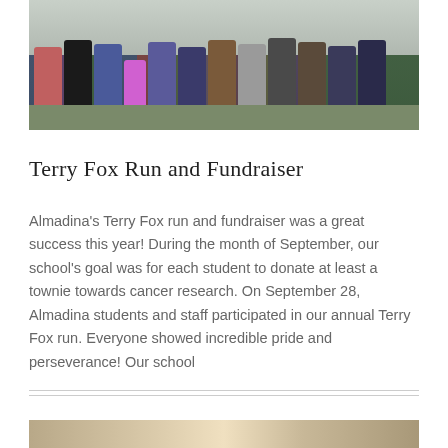[Figure (photo): Group of school children and staff standing outdoors on grass for the Terry Fox Run]
Terry Fox Run and Fundraiser
Almadina's Terry Fox run and fundraiser was a great success this year! During the month of September, our school's goal was for each student to donate at least a townie towards cancer research. On September 28, Almadina students and staff participated in our annual Terry Fox run. Everyone showed incredible pride and perseverance! Our school
[Figure (photo): Partial photo visible at the bottom of the page]